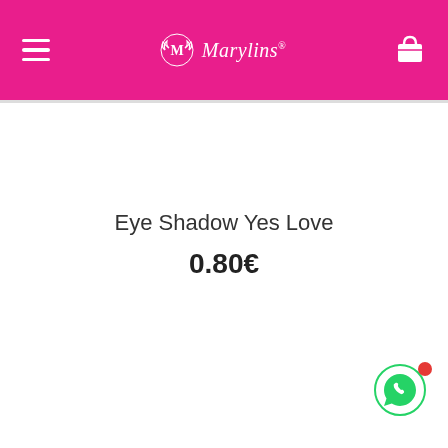Marylins (logo header with hamburger menu and cart icon)
Eye Shadow Yes Love
0.80€
[Figure (other): WhatsApp chat button icon with red notification dot in bottom-right corner]